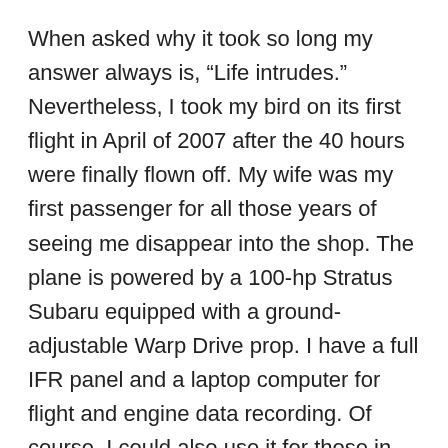When asked why it took so long my answer always is, “Life intrudes.” Nevertheless, I took my bird on its first flight in April of 2007 after the 40 hours were finally flown off. My wife was my first passenger for all those years of seeing me disappear into the shop. The plane is powered by a 100-hp Stratus Subaru equipped with a ground-adjustable Warp Drive prop. I have a full IFR panel and a laptop computer for flight and engine data recording. Of course, I could also use it for those in-flight movies. The plane is equipped with an all-electric panel and dual main power buses and batteries. The aluminum is polished, and the cowling and wheelpants are fiberglass of my own design. The